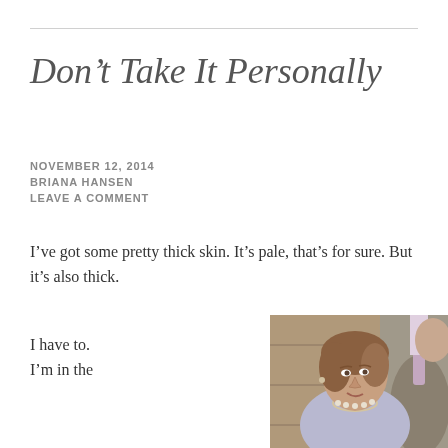Don't Take It Personally
NOVEMBER 12, 2014
BRIANA HANSEN
LEAVE A COMMENT
I've got some pretty thick skin. It's pale, that's for sure. But it's also thick.
I have to. I'm in the
[Figure (photo): A woman with short brown hair wearing a light lavender blazer and pearl necklace, looking to the side with a slight smile. A man in a grey suit with a pink/purple tie is partially visible behind her. Background appears to be a wooden door or paneling.]